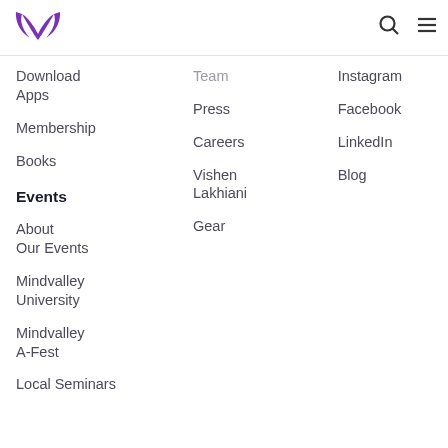Mindvalley logo, search icon, menu icon
Download Apps
Membership
Books
Events
About Our Events
Mindvalley University
Mindvalley A-Fest
Local Seminars
Team
Press
Careers
Vishen Lakhiani
Gear
Instagram
Facebook
LinkedIn
Blog